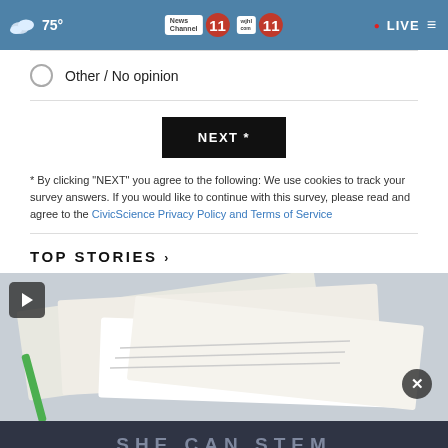75° News Channel 11 wjhl.com 11 • LIVE
Other / No opinion
[Figure (other): NEXT * button (black button with white text)]
* By clicking "NEXT" you agree to the following: We use cookies to track your survey answers. If you would like to continue with this survey, please read and agree to the CivicScience Privacy Policy and Terms of Service
TOP STORIES ›
[Figure (photo): Video thumbnail showing papers/documents with a play button overlay. A close (x) button is visible. A dark banner at bottom reads SHE CAN STEM.]